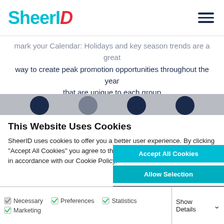SheerID
Mark your Calendar: Holidays and key season trends are a great way to create peak promotion opportunities throughout the year that are unique to each group
This Website Uses Cookies
SheerID uses cookies to offer you a better user experience. By clicking "Accept All Cookies" you agree to the storing of cookies on your device in accordance with our Cookie Policy.
Accept All Cookies
Allow Selection
Use Necessary Cookies Only
Necessary  Preferences  Statistics  Marketing  Show Details